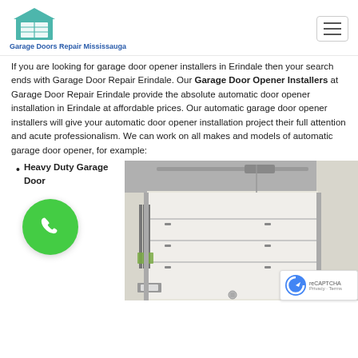Garage Doors Repair Mississauga
If you are looking for garage door opener installers in Erindale then your search ends with Garage Door Repair Erindale. Our Garage Door Opener Installers at Garage Door Repair Erindale provide the absolute automatic door opener installation in Erindale at affordable prices. Our automatic garage door opener installers will give your automatic door opener installation project their full attention and acute professionalism. We can work on all makes and models of automatic garage door opener, for example:
Heavy Duty Garage Door
[Figure (illustration): Technical illustration of a garage door opener mechanism showing ceiling-mounted rail system and sectional garage door panels with hardware components]